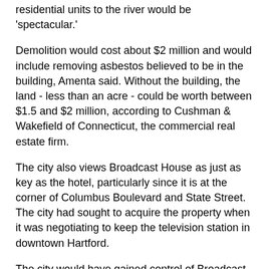residential units to the river would be 'spectacular.'
Demolition would cost about $2 million and would include removing asbestos believed to be in the building, Amenta said. Without the building, the land - less than an acre - could be worth between $1.5 and $2 million, according to Cushman & Wakefield of Connecticut, the commercial real estate firm.
The city also views Broadcast House as just as key as the hotel, particularly since it is at the corner of Columbus Boulevard and State Street. The city had sought to acquire the property when it was negotiating to keep the television station in downtown Hartford.
The city would have gained control of Broadcast House, essentially swapping it for a city-owned parcel near Main and Trumbull, where WFSB had considered building a new facility.
WFSB, a CBS affiliate, decided to build a new facility in Rocky Hill, which is expected to be ready in late spring or